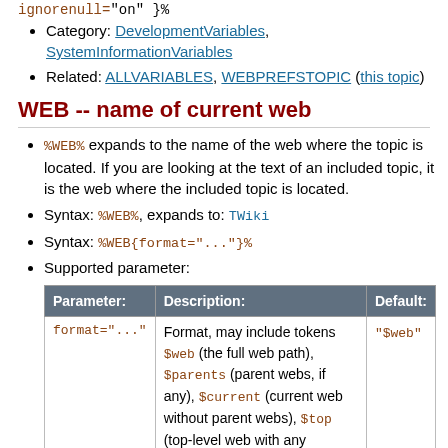ignorenull="on"}%
Category: DevelopmentVariables, SystemInformationVariables
Related: ALLVARIABLES, WEBPREFSTOPIC (this topic)
WEB -- name of current web
%WEB% expands to the name of the web where the topic is located. If you are looking at the text of an included topic, it is the web where the included topic is located.
Syntax: %WEB%, expands to: TWiki
Syntax: %WEB{format="..."}%
Supported parameter:
| Parameter: | Description: | Default: |
| --- | --- | --- |
| format="..." | Format, may include tokens $web (the full web path), $parents (parent webs, if any), $current (current web without parent webs), $top (top-level web with any subwebs removed) | "$web" |